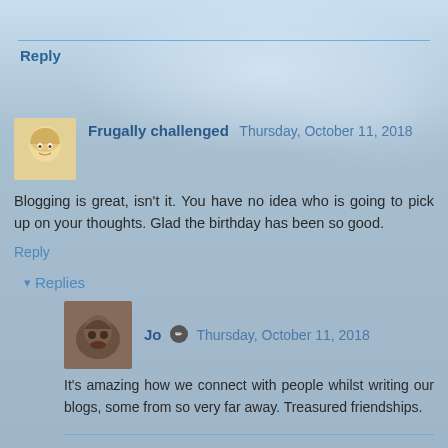Reply
Frugally challenged  Thursday, October 11, 2018
Blogging is great, isn't it. You have no idea who is going to pick up on your thoughts. Glad the birthday has been so good.
Reply
▾ Replies
[Figure (photo): Jo's profile avatar photo showing a pet/animal]
Jo  Thursday, October 11, 2018
It's amazing how we connect with people whilst writing our blogs, some from so very far away. Treasured friendships.
Reply